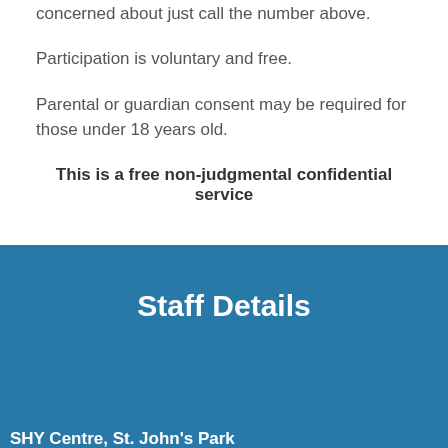concerned about just call the number above.
Participation is voluntary and free.
Parental or guardian consent may be required for those under 18 years old.
This is a free non-judgmental confidential service
Staff Details
SHY Centre, St. John's Park